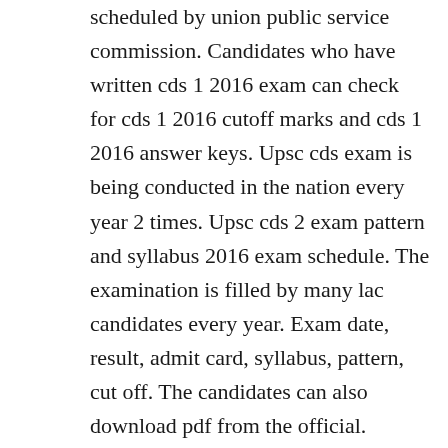scheduled by union public service commission. Candidates who have written cds 1 2016 exam can check for cds 1 2016 cutoff marks and cds 1 2016 answer keys. Upsc cds exam is being conducted in the nation every year 2 times. Upsc cds 2 exam pattern and syllabus 2016 exam schedule. The examination is filled by many lac candidates every year. Exam date, result, admit card, syllabus, pattern, cut off. The candidates can also download pdf from the official.
Interested candidates can start applying for